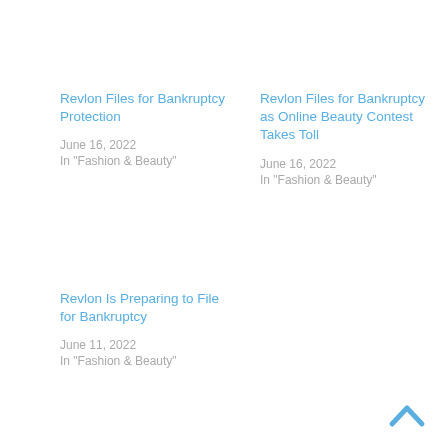Revlon Files for Bankruptcy Protection
June 16, 2022
In "Fashion & Beauty"
Revlon Files for Bankruptcy as Online Beauty Contest Takes Toll
June 16, 2022
In "Fashion & Beauty"
Revlon Is Preparing to File for Bankruptcy
June 11, 2022
In "Fashion & Beauty"